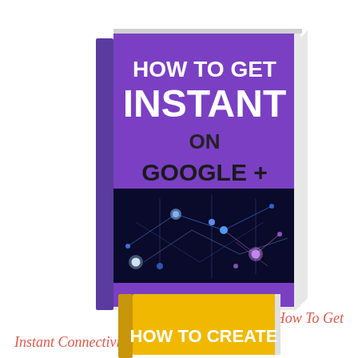[Figure (illustration): Book cover: purple book titled 'HOW TO GET INSTANT ON GOOGLE +' with a dark network/connectivity image on lower half and 'BY NINA EMMANUEL' at bottom]
How To Get
Instant Connectivity On Topic
[Figure (illustration): Partial view of a yellow book cover with text 'HOW TO CREATE' visible at the bottom of the page]